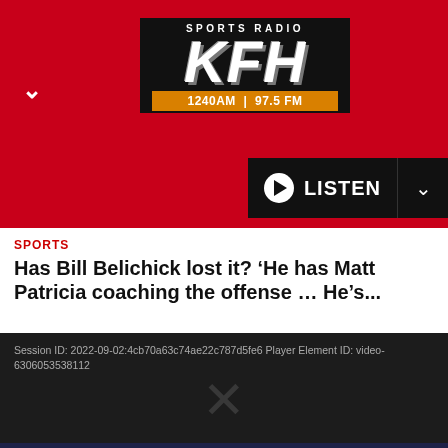[Figure (screenshot): Sports Radio KFH 1240AM 97.5 FM logo on red background with Listen button]
SPORTS
Has Bill Belichick lost it? 'He has Matt Patricia coaching the offense … He's...
Session ID: 2022-09-02:4cb70a63c74ae22c787d5fe6 Player Element ID: video-6306053538112
View Guide
Live
4:00pm
KFH Radio
7:00pm
Jim Rome
4:00pm to 7:00pm UTC
Live On-Air